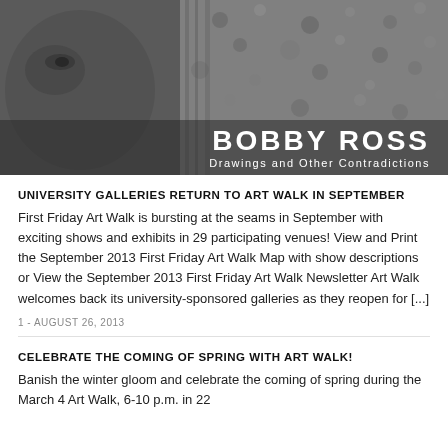[Figure (photo): Black and white artistic photo of an elderly person's face close-up merged with rocky/stone texture background. White text overlay reads 'BOBBY ROSS' and 'Drawings and Other Contradictions'.]
UNIVERSITY GALLERIES RETURN TO ART WALK IN SEPTEMBER
First Friday Art Walk is bursting at the seams in September with exciting shows and exhibits in 29 participating venues! View and Print the September 2013 First Friday Art Walk Map with show descriptions or View the September 2013 First Friday Art Walk Newsletter Art Walk welcomes back its university-sponsored galleries as they reopen for [...]
1 - AUGUST 26, 2013
CELEBRATE THE COMING OF SPRING WITH ART WALK!
Banish the winter gloom and celebrate the coming of spring during the March 4 Art Walk, 6-10 p.m. in 22